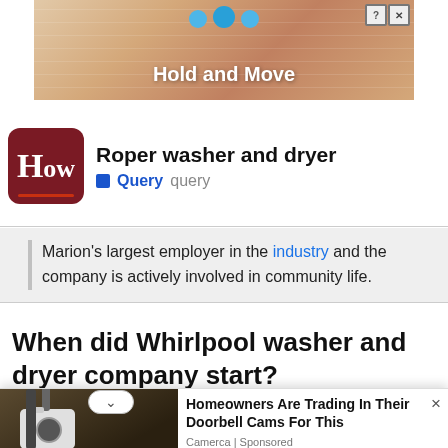[Figure (screenshot): Advertisement banner with 'Hold and Move' text and cartoon figures, with close/help buttons in top right]
Roper washer and dryer
Query  query
Marion's largest employer in the industry and the company is actively involved in community life.
When did Whirlpool washer and dryer company start?
[Figure (screenshot): Overlay advertisement: Homeowners Are Trading In Their Doorbell Cams For This - Camerca | Sponsored, with image of security camera]
1919
Comp
ntents